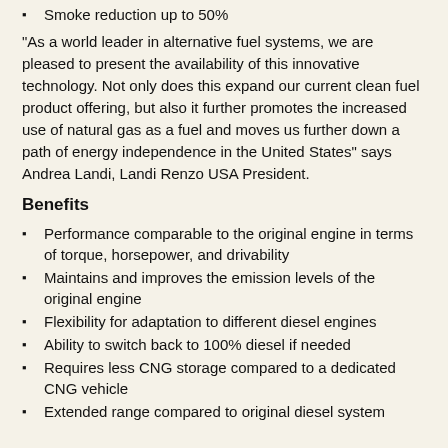Smoke reduction up to 50%
“As a world leader in alternative fuel systems, we are pleased to present the availability of this innovative technology. Not only does this expand our current clean fuel product offering, but also it further promotes the increased use of natural gas as a fuel and moves us further down a path of energy independence in the United States” says Andrea Landi, Landi Renzo USA President.
Benefits
Performance comparable to the original engine in terms of torque, horsepower, and drivability
Maintains and improves the emission levels of the original engine
Flexibility for adaptation to different diesel engines
Ability to switch back to 100% diesel if needed
Requires less CNG storage compared to a dedicated CNG vehicle
Extended range compared to original diesel system